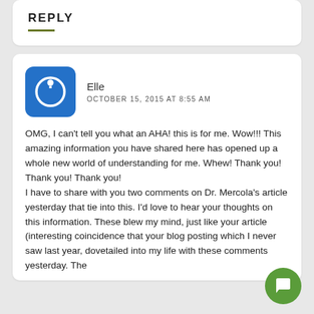REPLY
Elle
OCTOBER 15, 2015 AT 8:55 AM
OMG, I can't tell you what an AHA! this is for me. Wow!!! This amazing information you have shared here has opened up a whole new world of understanding for me. Whew! Thank you! Thank you! Thank you!
I have to share with you two comments on Dr. Mercola's article yesterday that tie into this. I'd love to hear your thoughts on this information. These blew my mind, just like your article (interesting coincidence that your blog posting which I never saw last year, dovetailed into my life with these comments yesterday. The